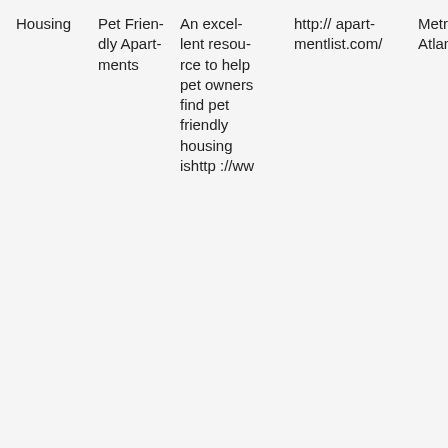| Housing | Pet Friendly Apartments | An excellent resource to help pet owners find pet friendly housing ishttp://ww |  | http://apartmentlist.com/ |  | Metro Atlanta |
| --- | --- | --- | --- | --- | --- | --- |